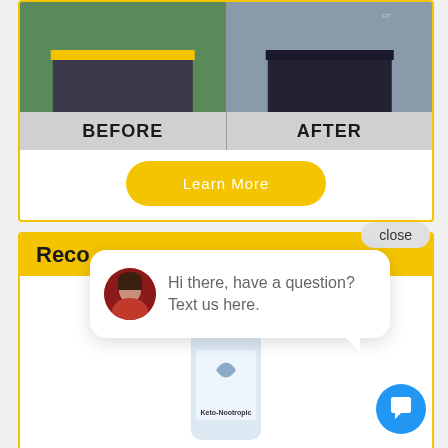[Figure (photo): Before and after weight loss comparison photos showing a man's torso. Left panel labeled BEFORE shows overweight torso in front of green background. Right panel labeled AFTER shows slimmer torso in front of gym background.]
Learn More
close
Reco
[Figure (photo): Product photo showing Keto-Nootropic supplement bottle with blue and white label.]
[Figure (infographic): Chat popup bubble showing avatar of a woman and text: Hi there, have a question? Text us here. Blue chat icon button in bottom right corner.]
Hi there, have a question? Text us here.